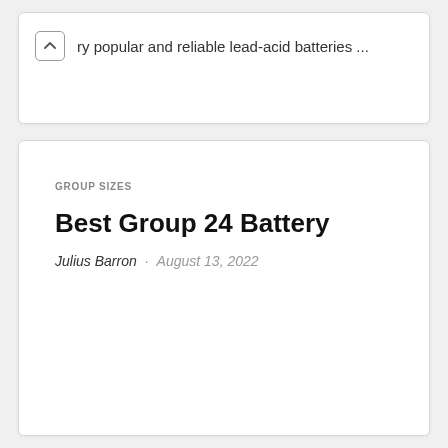ry popular and reliable lead-acid batteries ...
GROUP SIZES
Best Group 24 Battery
Julius Barron · August 13, 2022